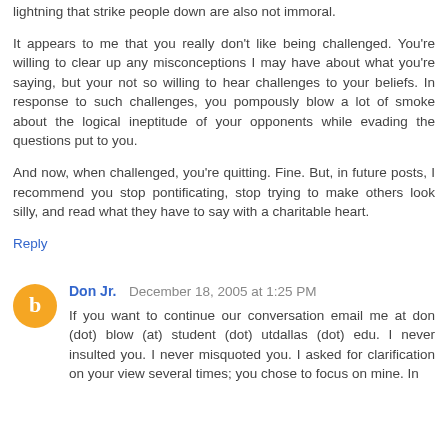lightning that strike people down are also not immoral.
It appears to me that you really don't like being challenged. You're willing to clear up any misconceptions I may have about what you're saying, but your not so willing to hear challenges to your beliefs. In response to such challenges, you pompously blow a lot of smoke about the logical ineptitude of your opponents while evading the questions put to you.
And now, when challenged, you're quitting. Fine. But, in future posts, I recommend you stop pontificating, stop trying to make others look silly, and read what they have to say with a charitable heart.
Reply
Don Jr.  December 18, 2005 at 1:25 PM
If you want to continue our conversation email me at don (dot) blow (at) student (dot) utdallas (dot) edu. I never insulted you. I never misquoted you. I asked for clarification on your view several times; you chose to focus on mine. In